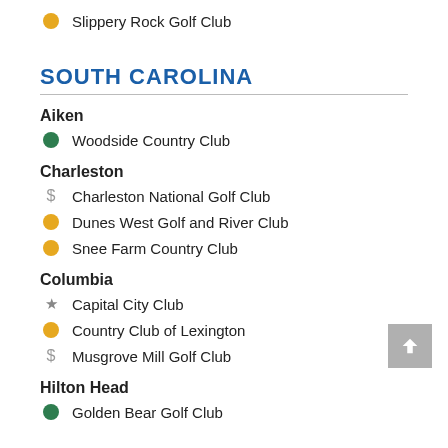Slippery Rock Golf Club
SOUTH CAROLINA
Aiken
Woodside Country Club
Charleston
Charleston National Golf Club
Dunes West Golf and River Club
Snee Farm Country Club
Columbia
Capital City Club
Country Club of Lexington
Musgrove Mill Golf Club
Hilton Head
Golden Bear Golf Club